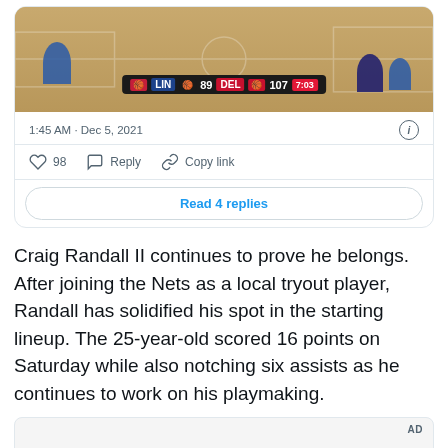[Figure (screenshot): Tweet card showing a basketball game screenshot with scoreboard showing LIN 89 DEL 107 at 7:03 in the 4th quarter. Tweet timestamp: 1:45 AM · Dec 5, 2021. Actions: 98 likes, Reply, Copy link. Read 4 replies button.]
Craig Randall II continues to prove he belongs. After joining the Nets as a local tryout player, Randall has solidified his spot in the starting lineup. The 25-year-old scored 16 points on Saturday while also notching six assists as he continues to work on his playmaking.
[Figure (screenshot): Advertisement box (AD)]